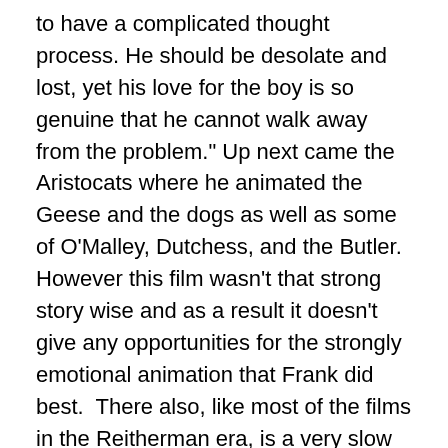to have a complicated thought process. He should be desolate and lost, yet his love for the boy is so genuine that he cannot walk away from the problem." Up next came the Aristocats where he animated the Geese and the dogs as well as some of O’Malley, Dutchess, and the Butler.  However this film wasn’t that strong story wise and as a result it doesn’t give any opportunities for the strongly emotional animation that Frank did best.  There also, like most of the films in the Reitherman era, is a very slow feeling to the movie.  There were many production problems on the film including one where Thomas had a somewhat-villainified role in.  It was where he supposedly stole all of Eric Cleworth’s scenes of the dogs Napoleon and Lafayette behind his back and thus he left the studio.  How much Frank was behind this is unknown and personally I think it’s better to remember the good things.